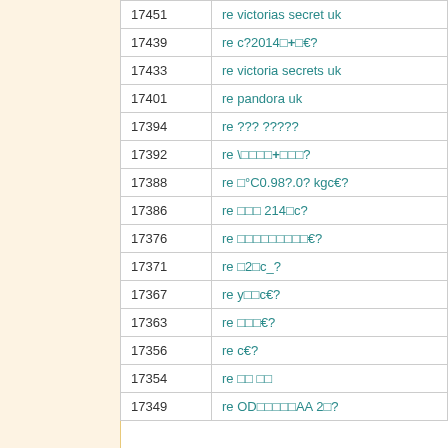| ID | Description |
| --- | --- |
| 17451 | re victorias secret uk |
| 17439 | re c?2014□+□€? |
| 17433 | re victoria secrets uk |
| 17401 | re pandora uk |
| 17394 | re ??? ????? |
| 17392 | re \□□□□+□□□? |
| 17388 | re □°C0.98?.0? kgc€? |
| 17386 | re □□□ 214□c? |
| 17376 | re □□□□□□□□□€? |
| 17371 | re □2□c_? |
| 17367 | re y□□c€? |
| 17363 | re □□□€? |
| 17356 | re c€? |
| 17354 | re □□ □□ |
| 17349 | re OD□□□□□AA 2□? |